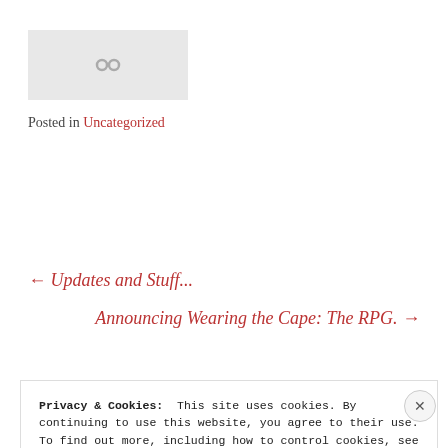[Figure (other): Placeholder image with broken image icon (chain link icon) on grey background]
Posted in Uncategorized
← Updates and Stuff...
Announcing Wearing the Cape: The RPG. →
Privacy & Cookies:  This site uses cookies. By continuing to use this website, you agree to their use.
To find out more, including how to control cookies, see here: Cookie Policy
Close and accept